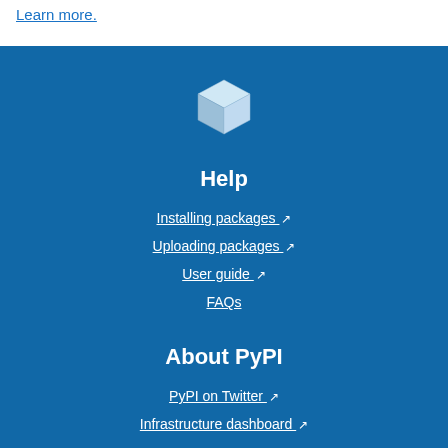Learn more.
[Figure (logo): PyPI white cube/box logo icon]
Help
Installing packages ↗
Uploading packages ↗
User guide ↗
FAQs
About PyPI
PyPI on Twitter ↗
Infrastructure dashboard ↗